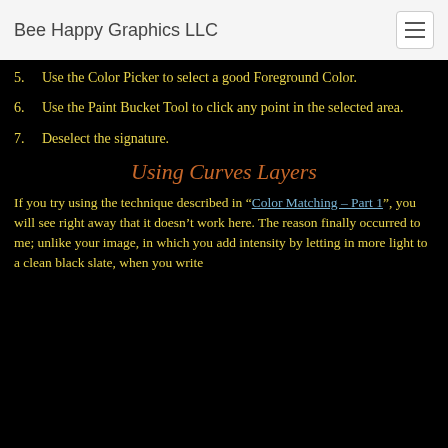Bee Happy Graphics LLC
5. Use the Color Picker to select a good Foreground Color.
6. Use the Paint Bucket Tool to click any point in the selected area.
7. Deselect the signature.
Using Curves Layers
If you try using the technique described in “Color Matching – Part 1”, you will see right away that it doesn’t work here. The reason finally occurred to me; unlike your image, in which you add intensity by letting in more light to a clean black slate, when you write